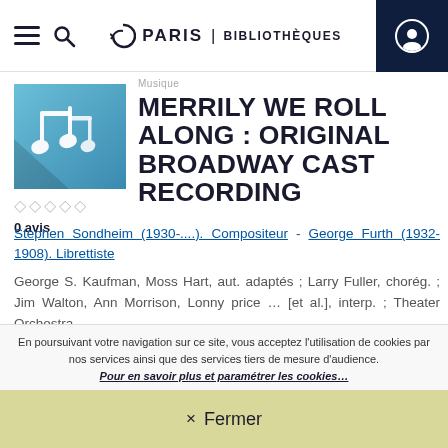PARIS | BIBLIOTHÈQUES
[Figure (illustration): Blue music note icon on gradient blue square background]
0 avis
MERRILY WE ROLL ALONG : ORIGINAL BROADWAY CAST RECORDING
Stephen Sondheim (1930-....). Compositeur - George Furth (1932-1908). Librettiste
George S. Kaufman, Moss Hart, aut. adaptés ; Larry Fuller, chorég. ; Jim Walton, Ann Morrison, Lonny price ... [et al.], interp. ; Theater Orchestra
En poursuivant votre navigation sur ce site, vous acceptez l'utilisation de cookies par nos services ainsi que des services tiers de mesure d'audience. Pour en savoir plus et paramétrer les cookies...
× Fermer